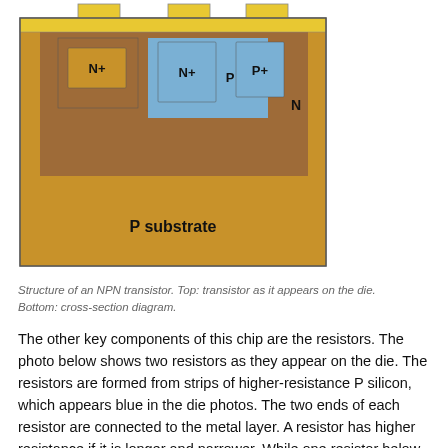[Figure (schematic): Cross-section diagram of an NPN transistor showing P substrate (tan/orange), N-well (brown), N+ regions, P region, P+ region, and metal contacts (yellow) on top.]
Structure of an NPN transistor. Top: transistor as it appears on the die. Bottom: cross-section diagram.
The other key components of this chip are the resistors. The photo below shows two resistors as they appear on the die. The resistors are formed from strips of higher-resistance P silicon, which appears blue in the die photos. The two ends of each resistor are connected to the metal layer. A resistor has higher resistance if it is longer and narrower. While one resistor below is a simple rectangle, the other has a complex zig-zag shape to fit more length into the available space. (The blue rectangle in the lower right is a transistor, not a resistor. To distinguish it from a resistor, note that it has three contacts, and the two contacts on the rectangle are not symmetrical.)